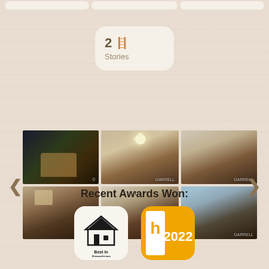2 Stories
[Figure (photo): Gallery of 6 interior and exterior home photos in a 3x2 grid showing: exterior night view, open kitchen/living area, living room, dining room with chandelier, formal dining room, and another dining/living space]
Recent Awards Won:
[Figure (logo): Best In American [Homes] award badge - white rounded square badge with house logo]
[Figure (logo): Houzz 2022 award badge - gold/yellow background with 'h' logo and '2022']